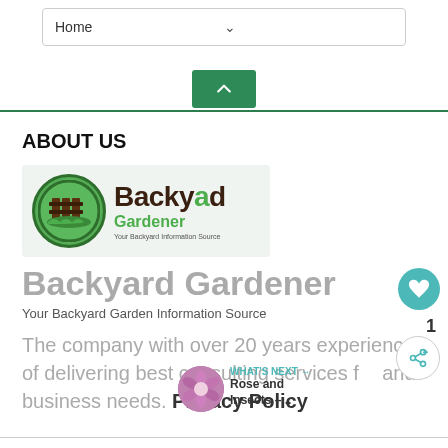Home
ABOUT US
[Figure (logo): Backyard Gardener logo with green circle icon containing fence and grass, and brown/green text reading 'Backyard Gardener — Your Backyard Information Source']
Backyard Gardener
Your Backyard Garden Information Source
The company with over 20 years experience of delivering best consulting services for and business needs. Privacy Policy